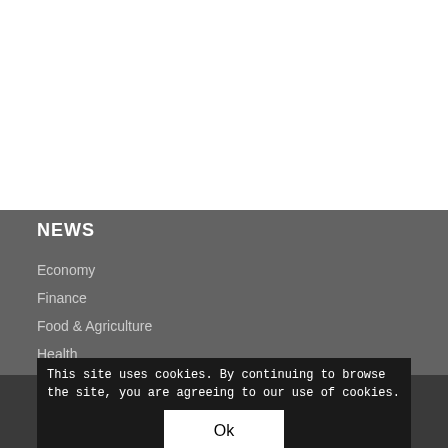NEWS
Economy
Finance
Food & Agriculture
Health
Manufacturing
Oil & Gas
Power
Real estate & Construction
Retail & Trade
Telecoms & IT
This site uses cookies. By continuing to browse the site, you are agreeing to our use of cookies.
Ok